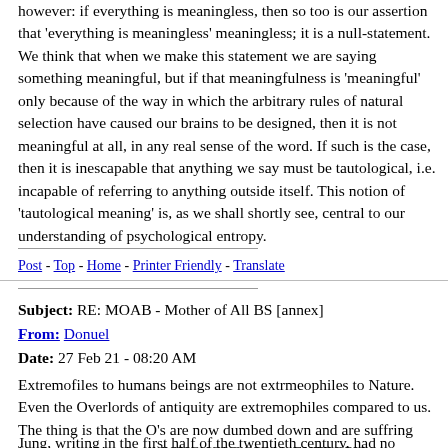however: if everything is meaningless, then so too is our assertion that 'everything is meaningless' meaningless; it is a null-statement. We think that when we make this statement we are saying something meaningful, but if that meaningfulness is 'meaningful' only because of the way in which the arbitrary rules of natural selection have caused our brains to be designed, then it is not meaningful at all, in any real sense of the word. If such is the case, then it is inescapable that anything we say must be tautological, i.e. incapable of referring to anything outside itself. This notion of 'tautological meaning' is, as we shall shortly see, central to our understanding of psychological entropy.
Post - Top - Home - Printer Friendly - Translate
Subject: RE: MOAB - Mother of All BS [annex]
From: Donuel
Date: 27 Feb 21 - 08:20 AM
Extremofiles to humans beings are not extrmeophiles to Nature. Even the Overlords of antiquity are extremophiles compared to us. The thing is that the O's are now dumbed down and are suffring from a condition I call PSYCHOLOGICAL ENTROPY.
Jung, writing in the first half of the twentieth century, had no